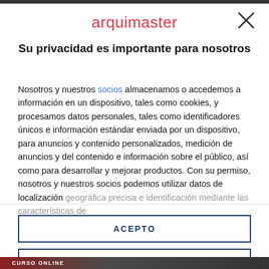arquimaster
Su privacidad es importante para nosotros
Nosotros y nuestros socios almacenamos o accedemos a información en un dispositivo, tales como cookies, y procesamos datos personales, tales como identificadores únicos e información estándar enviada por un dispositivo, para anuncios y contenido personalizados, medición de anuncios y del contenido e información sobre el público, así como para desarrollar y mejorar productos. Con su permiso, nosotros y nuestros socios podemos utilizar datos de localización geográfica precisa e identificación mediante las características de
ACEPTO
MÁS OPCIONES